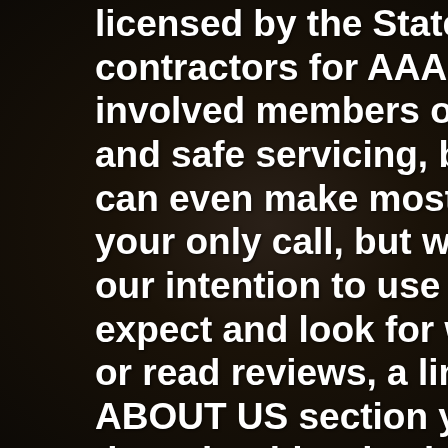licensed by the State of Tennessee, mc contractors for AAA Motorclub, membe involved members of the community. W and safe servicing, but we are also on can even make most keys previously th your only call, but we do want to be yo our intention to use this website to edu expect and look for when you need a lo or read reviews, a link to report an exp ABOUT US section you get the chance they should arrive in, and a link to follo announcements and tips. As always, w